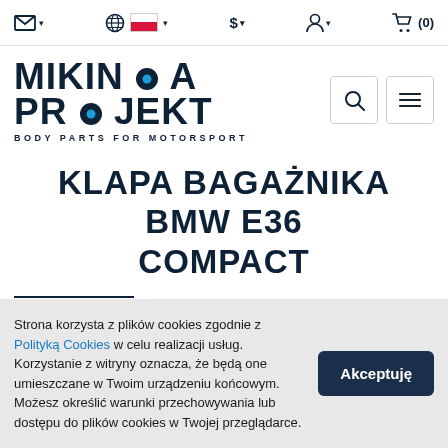Mikinka Projekt — top navigation bar with email, language (globe + Poland flag), currency ($), account, and cart (0) icons
[Figure (logo): Mikinka Projekt logo — bold dark navy text reading MIKINKA PROJEKT with a circular dot detail in the O, subtitle: BODY PARTS FOR MOTORSPORT]
KLAPA BAGAŻNIKA BMW E36 COMPACT
Strona korzysta z plików cookies zgodnie z Polityką Cookies w celu realizacji usług. Korzystanie z witryny oznacza, że będą one umieszczane w Twoim urządzeniu końcowym. Możesz określić warunki przechowywania lub dostępu do plików cookies w Twojej przeglądarce.